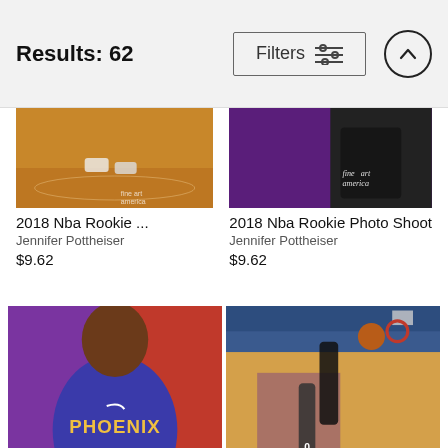Results: 62
2018 Nba Rookie ...
Jennifer Pottheiser
$9.62
2018 Nba Rookie Photo Shoot
Jennifer Pottheiser
$9.62
[Figure (photo): NBA player in Phoenix #22 jersey holding basketball against purple/red background]
[Figure (photo): NBA basketball game action shot showing player dunking in arena with Sacramento Kings purple court]